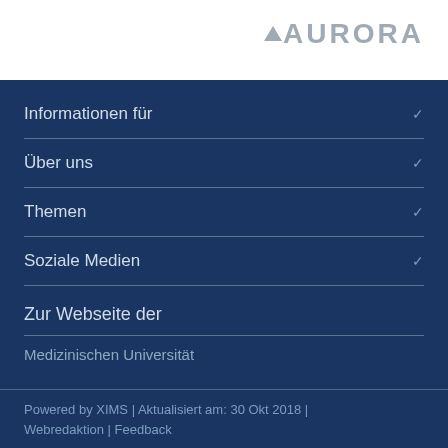[Figure (logo): AURORA logo with triangle in grey on white background]
Informationen für
Über uns
Themen
Soziale Medien
Zur Webseite der
Medizinischen Universität
Powered by XIMS | Aktualisiert am: 30 Okt 2018 | Webredaktion | Feedback